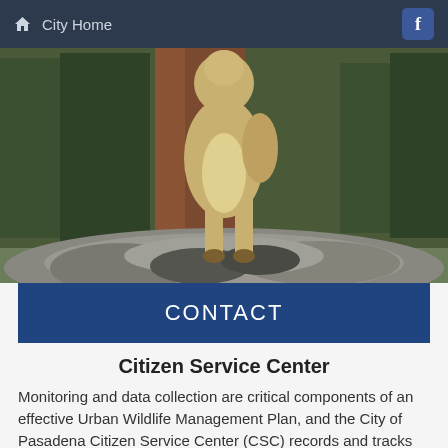City Home
[Figure (photo): A coyote standing on rocky terrain in a forested area, photographed from below, showing its legs and belly with trees and rocks in the background.]
CONTACT
Citizen Service Center
Monitoring and data collection are critical components of an effective Urban Wildlife Management Plan, and the City of Pasadena Citizen Service Center (CSC) records and tracks coyote sightings and encounters. Information can be submitted using the online reporting system or by calling (626) 744-7311.